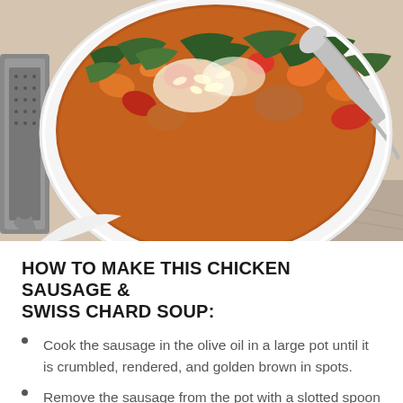[Figure (photo): A white bowl of chicken sausage and Swiss chard soup with tomatoes, kale/chard greens, carrots, and other vegetables in a broth, topped with grated parmesan cheese. A silver spoon rests in the bowl. A metal grater is visible at the left edge. The bowl sits on a light-colored stone or marble surface with a cloth napkin partially visible.]
HOW TO MAKE THIS CHICKEN SAUSAGE & SWISS CHARD SOUP:
Cook the sausage in the olive oil in a large pot until it is crumbled, rendered, and golden brown in spots.
Remove the sausage from the pot with a slotted spoon and set...